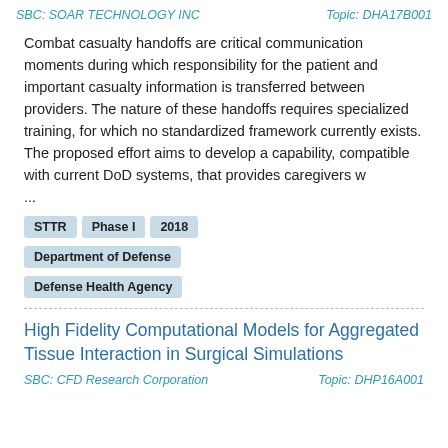SBC: SOAR TECHNOLOGY INC    Topic: DHA17B001
Combat casualty handoffs are critical communication moments during which responsibility for the patient and important casualty information is transferred between providers. The nature of these handoffs requires specialized training, for which no standardized framework currently exists. The proposed effort aims to develop a capability, compatible with current DoD systems, that provides caregivers w ...
STTR
Phase I
2018
Department of Defense
Defense Health Agency
High Fidelity Computational Models for Aggregated Tissue Interaction in Surgical Simulations
SBC: CFD Research Corporation    Topic: DHP16A001